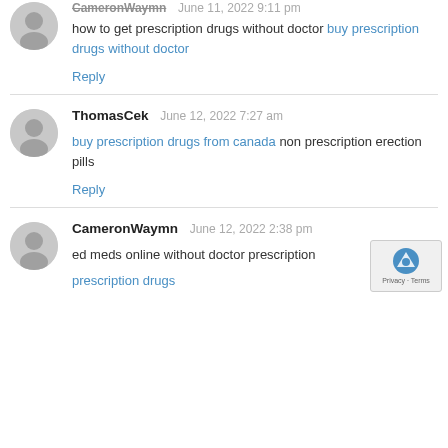CameronWaymn — June 11, 2022 9:11 pm
how to get prescription drugs without doctor buy prescription drugs without doctor
Reply
ThomasCek — June 12, 2022 7:27 am
buy prescription drugs from canada non prescription erection pills
Reply
CameronWaymn — June 12, 2022 2:38 pm
ed meds online without doctor prescription prescription drugs